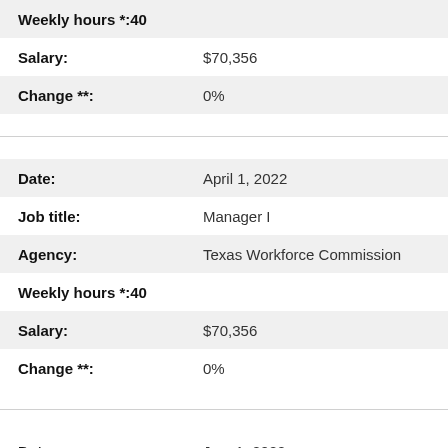| Field | Value |
| --- | --- |
| Weekly hours *: | 40 |
| Salary: | $70,356 |
| Change **: | 0% |
| Field | Value |
| --- | --- |
| Date: | April 1, 2022 |
| Job title: | Manager I |
| Agency: | Texas Workforce Commission |
| Weekly hours *: | 40 |
| Salary: | $70,356 |
| Change **: | 0% |
| Field | Value |
| --- | --- |
| Date: | Jan. 1, 2022 |